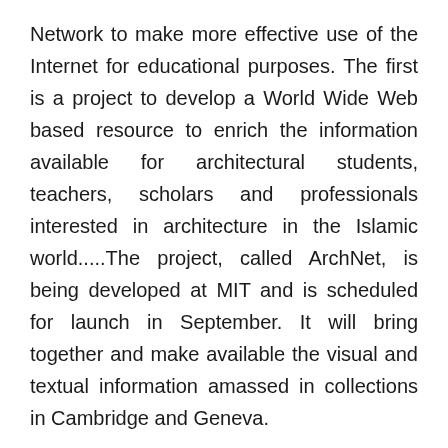Network to make more effective use of the Internet for educational purposes. The first is a project to develop a World Wide Web based resource to enrich the information available for architectural students, teachers, scholars and professionals interested in architecture in the Islamic world.....The project, called ArchNet, is being developed at MIT and is scheduled for launch in September. It will bring together and make available the visual and textual information amassed in collections in Cambridge and Geneva.
My second example relates to the new University of Central Asia. Last summer I signed an international treaty for the foundation of the university on behalf